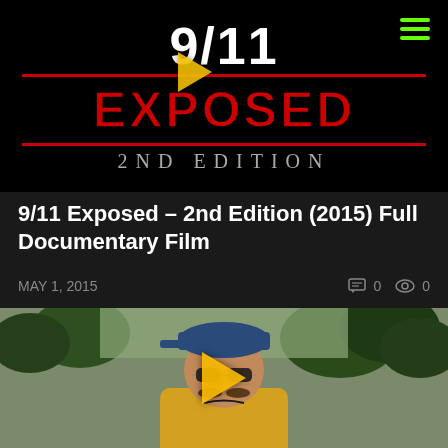[Figure (screenshot): Video thumbnail for '9/11 Exposed – 2nd Edition' documentary. Black background with white '9/11' text, large red 'EXPOSED' text, red horizontal lines, and '2nd Edition' in gray serif text. A green hamburger menu icon appears top-right and a yellow play button is centered on the image.]
9/11 Exposed – 2nd Edition (2015) Full Documentary Film
MAY 1, 2015   🗨 0  👁 0
[Figure (screenshot): Video thumbnail showing a man wearing a blue baseball cap and sunglasses outdoors with palm trees in the background. A yellow play button is overlaid in the center.]